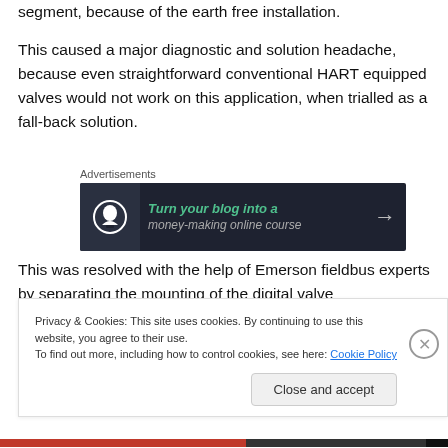segment, because of the earth free installation.
This caused a major diagnostic and solution headache, because even straightforward conventional HART equipped valves would not work on this application, when trialled as a fall-back solution.
[Figure (other): Advertisement banner: 'Turn your blog into a money-making online course' on dark background with arrow]
This was resolved with the help of Emerson fieldbus experts by separating the mounting of the digital valve
Privacy & Cookies: This site uses cookies. By continuing to use this website, you agree to their use.
To find out more, including how to control cookies, see here: Cookie Policy
Close and accept